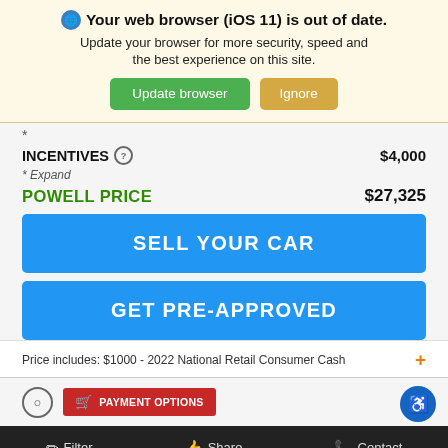Your web browser (iOS 11) is out of date. Update your browser for more security, speed and the best experience on this site.
INCENTIVES   $4,000
* Expand
POWELL PRICE   $27,325
SELL YOUR CAR
GET PRE-APPROVED
Price includes: $1000 - 2022 National Retail Consumer Cash
PAYMENT OPTIONS
Filter   Share   Contact